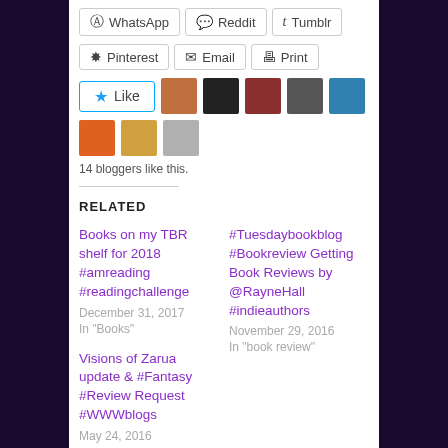[Figure (other): Social share buttons row: WhatsApp, Reddit, Tumblr]
[Figure (other): Social share buttons row: Pinterest, Email, Print]
[Figure (other): Like button with star icon and 8 blogger avatar thumbnails]
14 bloggers like this.
RELATED
Books on my TBR shelf for 2018 #amreading #readingchallenge
December 31, 2017
In "Books"
#Tuesdaybookblog #Bookreview Getting Book Reviews by @RayneHall #indieauthors
November 29, 2016
In "book review"
Visions of Zarua update & #Fantasy #Review Request #WWWblogs
May 24, 2016